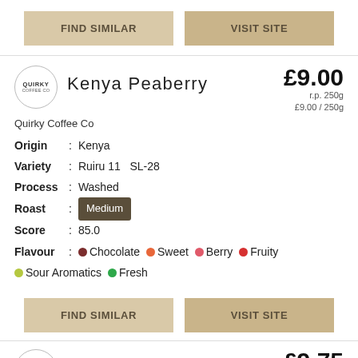[Figure (other): Two buttons: FIND SIMILAR and VISIT SITE (top)]
[Figure (logo): Quirky Coffee Co circular logo]
Kenya Peaberry
£9.00
r.p. 250g
£9.00 / 250g
Quirky Coffee Co
Origin   :  Kenya
Variety  :  Ruiru 11   SL-28
Process :  Washed
Roast    :  Medium
Score    :  85.0
Flavour :  Chocolate  Sweet  Berry  Fruity  Sour Aromatics  Fresh
[Figure (other): Two buttons: FIND SIMILAR and VISIT SITE (bottom)]
[Figure (logo): Quirky Coffee Co circular logo (second product)]
King Alfred Blend
£9.75
r.p. 250g